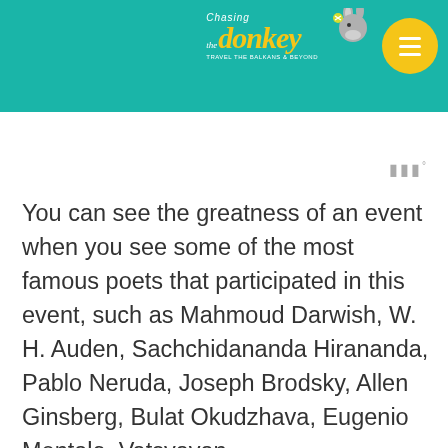Chasing the Donkey
You can see the greatness of an event when you see some of the most famous poets that participated in this event, such as Mahmoud Darwish, W. H. Auden, Sachchidananda Hirananda, Pablo Neruda, Joseph Brodsky, Allen Ginsberg, Bulat Okudzhava, Eugenio Montale, Vatsyayan